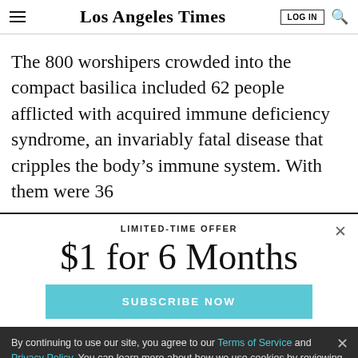Los Angeles Times
The 800 worshipers crowded into the compact basilica included 62 people afflicted with acquired immune deficiency syndrome, an invariably fatal disease that cripples the body's immune system. With them were 36
LIMITED-TIME OFFER
$1 for 6 Months
SUBSCRIBE NOW
By continuing to use our site, you agree to our Terms of Service and Privacy Policy. You can learn more about how we use cookies by reviewing our Privacy Policy. Close